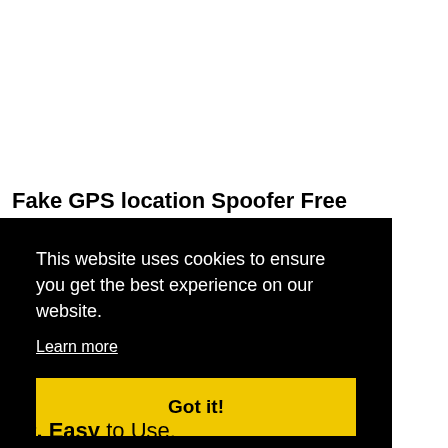Fake GPS location Spoofer Free Features
This website uses cookies to ensure you get the best experience on our website.
Learn more
Got it!
4#. Easy to Use.